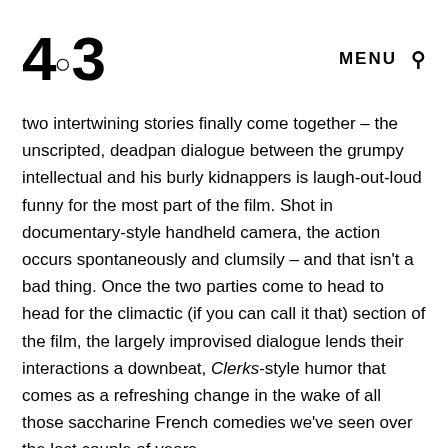4:3 MENU
two intertwining stories finally come together – the unscripted, deadpan dialogue between the grumpy intellectual and his burly kidnappers is laugh-out-loud funny for the most part of the film. Shot in documentary-style handheld camera, the action occurs spontaneously and clumsily – and that isn't a bad thing. Once the two parties come to head to head for the climactic (if you can call it that) section of the film, the largely improvised dialogue lends their interactions a downbeat, Clerks-style humor that comes as a refreshing change in the wake of all those saccharine French comedies we've seen over the last couple of years.
Trapped and confused in an old Polish couple's house in rural France, the author resigns himself remarkably quickly to his new life in captivity, and becomes affable in no time. The film picks up a few more plot twists along the way...